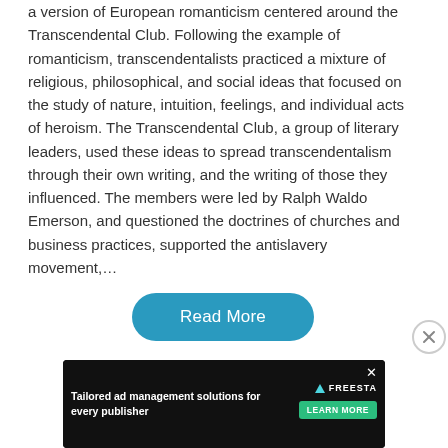a version of European romanticism centered around the Transcendental Club. Following the example of romanticism, transcendentalists practiced a mixture of religious, philosophical, and social ideas that focused on the study of nature, intuition, feelings, and individual acts of heroism. The Transcendental Club, a group of literary leaders, used these ideas to spread transcendentalism through their own writing, and the writing of those they influenced. The members were led by Ralph Waldo Emerson, and questioned the doctrines of churches and business practices, supported the antislavery movement,…
[Figure (other): Read More button — teal rounded rectangle button with white text]
[Figure (other): Close (X) circle button on the right side]
[Figure (other): Advertisement banner: Tailored ad management solutions for every publisher — Freesta, dark background with illustrated figures]